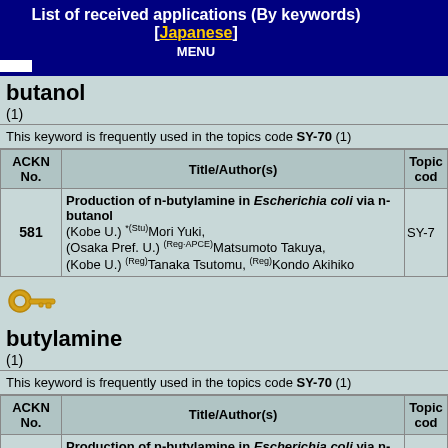List of received applications (By keywords) [Japanese]
butanol
(1)
This keyword is frequently used in the topics code SY-70 (1)
| ACKN No. | Title/Author(s) | Topic code |
| --- | --- | --- |
| 581 | Production of n-butylamine in Escherichia coli via n-butanol
(Kobe U.) *(Stu)Mori Yuki,
(Osaka Pref. U.) (Reg-APCE)Matsumoto Takuya,
(Kobe U.) (Reg)Tanaka Tsutomu, (Reg)Kondo Akihiko | SY-7 |
[Figure (illustration): Key icon]
butylamine
(1)
This keyword is frequently used in the topics code SY-70 (1)
| ACKN No. | Title/Author(s) | Topic code |
| --- | --- | --- |
| 581 | Production of n-butylamine in Escherichia coli via n-butanol
(Kobe U.) *(Stu)Mori Yuki,
(Osaka Pref. U.) (Reg-APCE)Matsumoto Takuya,
(Kobe U.) (Reg)Tanaka Tsutomu, (Reg)Kondo Akihiko | SY-7 |